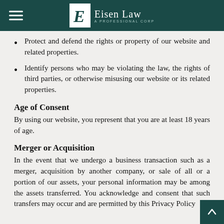Eisen Law — A Professional Corp
Protect and defend the rights or property of our website and related properties.
Identify persons who may be violating the law, the rights of third parties, or otherwise misusing our website or its related properties.
Age of Consent
By using our website, you represent that you are at least 18 years of age.
Merger or Acquisition
In the event that we undergo a business transaction such as a merger, acquisition by another company, or sale of all or a portion of our assets, your personal information may be among the assets transferred. You acknowledge and consent that such transfers may occur and are permitted by this Privacy Policy